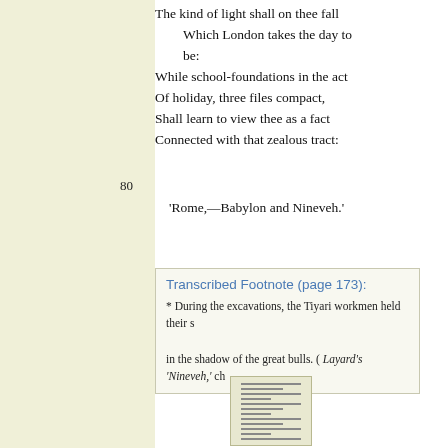The kind of light shall on thee fall
    Which London takes the day to
    be:
While school-foundations in the act
Of holiday, three files compact,
Shall learn to view thee as a fact
Connected with that zealous tract:
80
'Rome,—Babylon and Nineveh.'
Transcribed Footnote (page 173):
* During the excavations, the Tiyari workmen held their s
in the shadow of the great bulls. ( Layard's 'Nineveh,' ch
[Figure (other): Small thumbnail image of a printed page with lines of text]